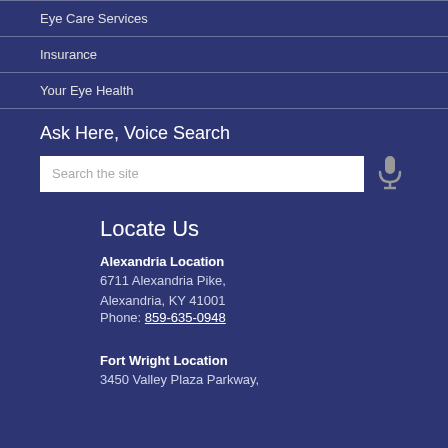Eye Care Services
Insurance
Your Eye Health
Ask Here, Voice Search
[Figure (other): Search input box with placeholder text 'Search the site' and a microphone icon]
Locate Us
Alexandria Location
6711 Alexandria Pike,
Alexandria, KY 41001
Phone: 859-635-0948
Fort Wright Location
3450 Valley Plaza Parkway,